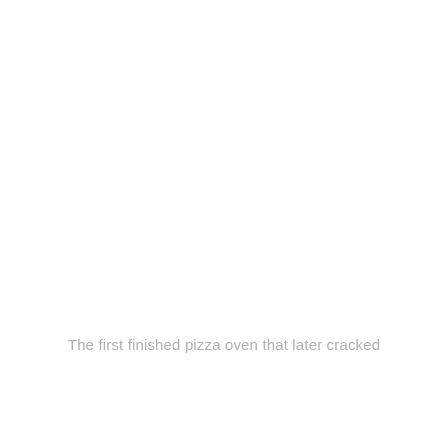The first finished pizza oven that later cracked